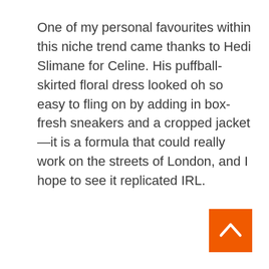One of my personal favourites within this niche trend came thanks to Hedi Slimane for Celine. His puffball-skirted floral dress looked oh so easy to fling on by adding in box-fresh sneakers and a cropped jacket—it is a formula that could really work on the streets of London, and I hope to see it replicated IRL.
[Figure (other): Orange square button with a white upward-pointing chevron arrow in the bottom-right corner of the page]